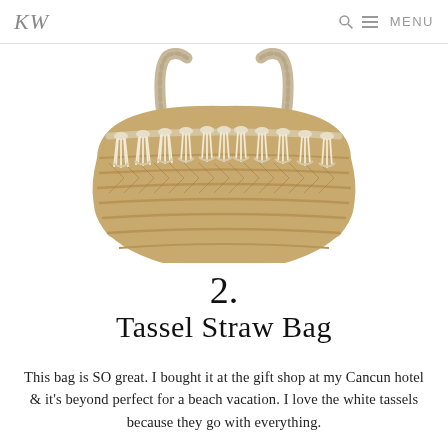KW  🔍 ≡ MENU
[Figure (photo): A woven straw tote bag with cream/white tassels along the upper rim and braided shoulder straps, photographed on a white background.]
2.
Tassel Straw Bag
This bag is SO great. I bought it at the gift shop at my Cancun hotel & it's beyond perfect for a beach vacation. I love the white tassels because they go with everything.